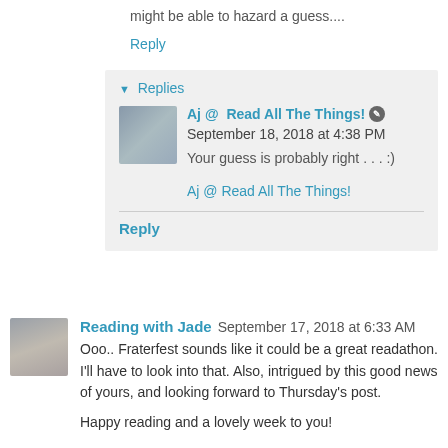might be able to hazard a guess....
Reply
▾ Replies
Aj @ Read All The Things! September 18, 2018 at 4:38 PM
Your guess is probably right . . . :)
Aj @ Read All The Things!
Reply
Reading with Jade September 17, 2018 at 6:33 AM
Ooo.. Fraterfest sounds like it could be a great readathon. I'll have to look into that. Also, intrigued by this good news of yours, and looking forward to Thursday's post.
Happy reading and a lovely week to you!